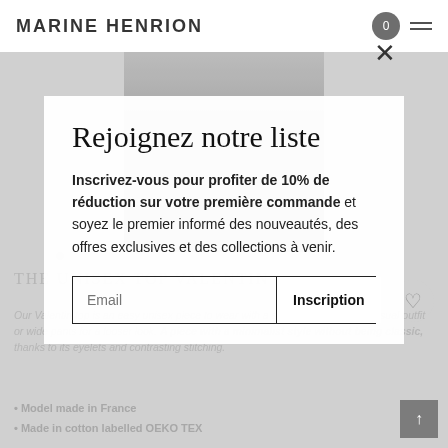MARINE HENRION
Rejoignez notre liste
Inscrivez-vous pour profiter de 10% de réduction sur votre première commande et soyez le premier informé des nouveautés, des offres exclusives et des collections à venir.
Email    Inscription
THE UNISEX TOP VALENTIN
Our Valentin top is an easy unisex piece to wear with a short skirt for a sexy-casual outfit or wide pants for a looser look. A piece with a minimalist style without being classic, thanks to its eyelets and contrasting stitching.
Model made in France
Made in cotton labelled OEKO TEX